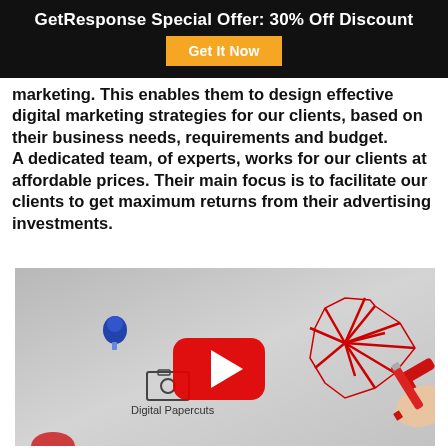GetResponse Special Offer: 30% Off Discount
marketing. This enables them to design effective digital marketing strategies for our clients, based on their business needs, requirements and budget.
A dedicated team, of experts, works for our clients at affordable prices. Their main focus is to facilitate our clients to get maximum returns from their advertising investments.
[Figure (screenshot): YouTube video thumbnail showing a hand drawing a red starburst shape with a marker, a blue pin/button, a camera icon, and text 'Digital Papercuts', with a YouTube play button overlay in the center.]